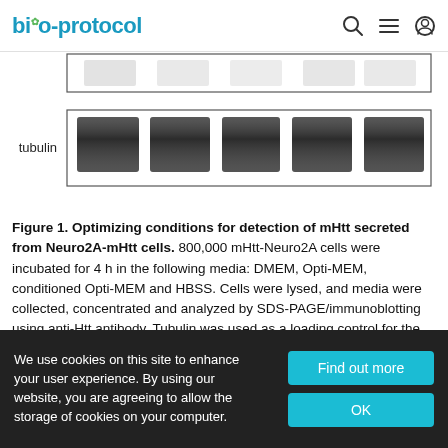bio-protocol
[Figure (photo): Western blot image showing tubulin loading control bands across 5 lanes. Two horizontal blot strips with dark protein bands visible in each lane.]
Figure 1. Optimizing conditions for detection of mHtt secreted from Neuro2A-mHtt cells. 800,000 mHtt-Neuro2A cells were incubated for 4 h in the following media: DMEM, Opti-MEM, conditioned Opti-MEM and HBSS. Cells were lysed, and media were collected, concentrated and analyzed by SDS-PAGE/immunoblotting using anti-Htt antibody. Tubulin was used as a loading control for the cell lysates. The fifth lane represents concentrated conditioned media before being applied on mHtt-expressing Neuro2A.
We use cookies on this site to enhance your user experience. By using our website, you are agreeing to allow the storage of cookies on your computer.